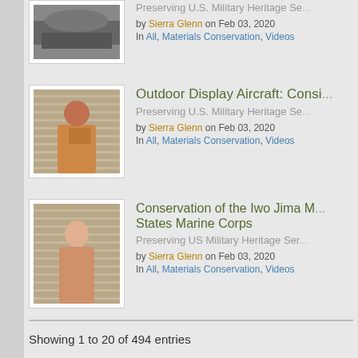[Figure (photo): Black and white photo partially visible at top]
Preserving U.S. Military Heritage Se...
by Sierra Glenn on Feb 03, 2020
In All, Materials Conservation, Videos
[Figure (photo): Man with beard speaking at a podium]
Outdoor Display Aircraft: Consi...
Preserving U.S. Military Heritage Se...
by Sierra Glenn on Feb 03, 2020
In All, Materials Conservation, Videos
[Figure (photo): Woman with glasses speaking at a podium]
Conservation of the Iwo Jima M... States Marine Corps
Preserving US Military Heritage Ser...
by Sierra Glenn on Feb 03, 2020
In All, Materials Conservation, Videos
Showing 1 to 20 of 494 entries